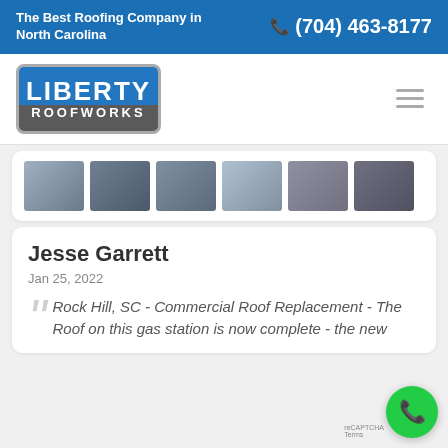The Best Roofing Company in North Carolina  ☎ (704) 463-8177
[Figure (logo): Liberty Roofworks logo — blue top half with LIBERTY text, grey bottom with ROOFWORKS text, rounded rectangle shield shape]
[Figure (photo): Gallery strip showing 6 thumbnail photos of roofing projects on residential and commercial buildings]
Jesse Garrett
Jan 25, 2022
Rock Hill, SC - Commercial Roof Replacement - The Roof on this gas station is now complete - the new